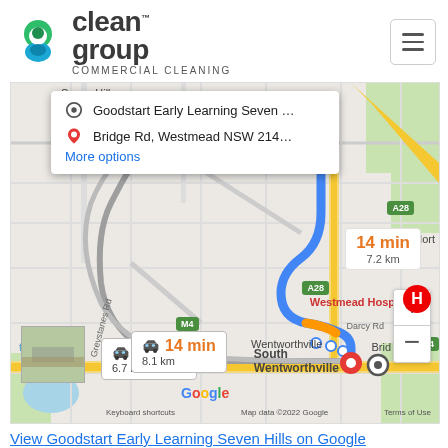[Figure (logo): Clean Group Commercial Cleaning logo with teal/green swirl icon and bold dark text]
[Figure (map): Google Maps screenshot showing driving directions from Goodstart Early Learning Seven Hills to Bridge Rd, Westmead NSW. Shows route with blue path, time estimates of 13 min/6.7 km and 14 min/8.1 km, with 14 min/7.2 km shown in orange. Map labels include Westmead Hospital, Wentworthville, South Wentworthville, A28, M4, Seven Hills area.]
View Goodstart Early Learning Seven Hills on Google